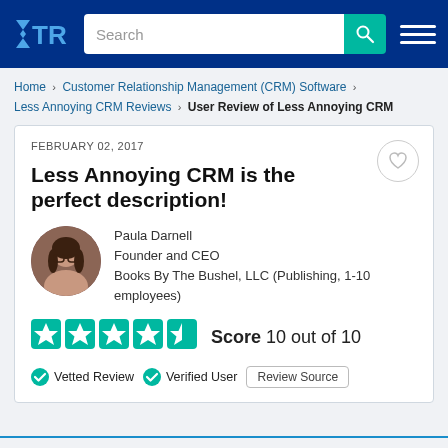TrustRadius — Search bar and navigation
Home > Customer Relationship Management (CRM) Software > Less Annoying CRM Reviews > User Review of Less Annoying CRM
FEBRUARY 02, 2017
Less Annoying CRM is the perfect description!
Paula Darnell
Founder and CEO
Books By The Bushel, LLC (Publishing, 1-10 employees)
Score 10 out of 10
✔ Vetted Review  ✔ Verified User  Review Source